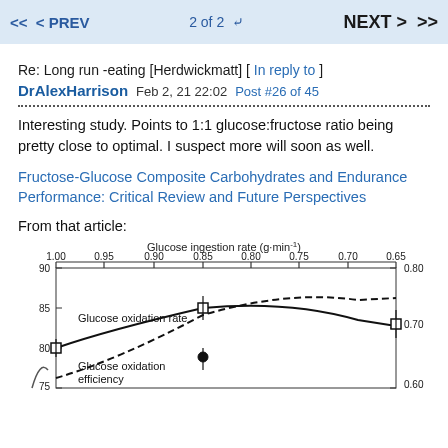<< < PREV   2 of 2 ∨   NEXT > >>
Re: Long run -eating [Herdwickmatt] [ In reply to ]
DrAlexHarrison  Feb 2, 21 22:02  Post #26 of 45
Interesting study. Points to 1:1 glucose:fructose ratio being pretty close to optimal. I suspect more will soon as well.
Fructose-Glucose Composite Carbohydrates and Endurance Performance: Critical Review and Future Perspectives
From that article:
[Figure (continuous-plot): Scientific chart showing Glucose ingestion rate (g·min⁻¹) on top x-axis (1.00 to 0.65), y-axis left from 75 to 90, y-axis right from 0.60 to 0.80. Two curves: solid curve for 'Glucose oxidation rate' and dashed curve for 'Glucose oxidation efficiency', with data points shown as squares (open) and circles (filled) with error bars.]